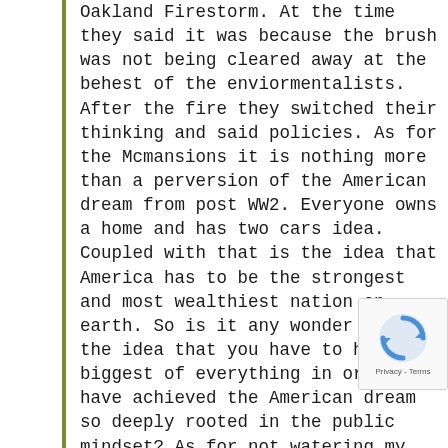Oakland Firestorm. At the time they said it was because the brush was not being cleared away at the behest of the enviormentalists. After the fire they switched their thinking and said policies. As for the Mcmansions it is nothing more than a perversion of the American dream from post WW2. Everyone owns a home and has two cars idea. Coupled with that is the idea that America has to be the strongest and most wealthiest nation on earth. So is it any wonder that the idea that you have to have the biggest of everything in order to have achieved the American dream so deeply rooted in the public mindset? As for not watering my lawn, so just because I live in an urban enviroment there should be no greenspaces or plants? I thought grass was part of nature? Am I not being a good steward of the small piece of earth that is mine to tend by watering it and keeping it healthy? The use of LA
[Figure (other): reCAPTCHA badge with rotating arrow icon and Privacy - Terms text]